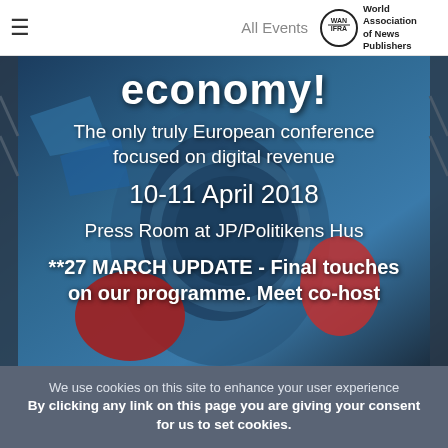All Events | World Association of News Publishers
[Figure (photo): Futuristic robotic sculpture with red and metallic blue elements against a dark industrial background, used as event hero image]
economy!
The only truly European conference focused on digital revenue
10-11 April 2018
Press Room at JP/Politikens Hus
**27 MARCH UPDATE - Final touches on our programme. Meet co-host
We use cookies on this site to enhance your user experience By clicking any link on this page you are giving your consent for us to set cookies.